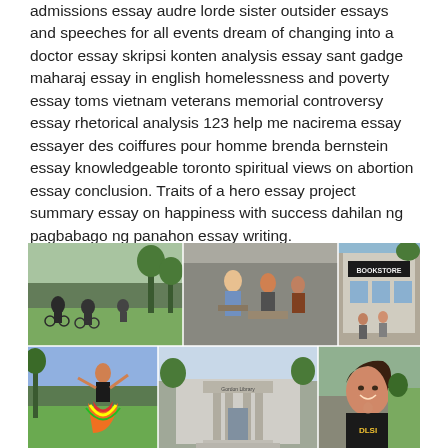admissions essay audre lorde sister outsider essays and speeches for all events dream of changing into a doctor essay skripsi konten analysis essay sant gadge maharaj essay in english homelessness and poverty essay toms vietnam veterans memorial controversy essay rhetorical analysis 123 help me nacirema essay essayer des coiffures pour homme brenda bernstein essay knowledgeable toronto spiritual views on abortion essay conclusion. Traits of a hero essay project summary essay on happiness with success dahilan ng pagbabago ng panahon essay writing.
[Figure (photo): A collage of campus life photos showing students biking, people at a bookstore, a dancer in colorful traditional costume, a library building, a smiling woman in a dark shirt, and various outdoor campus scenes.]